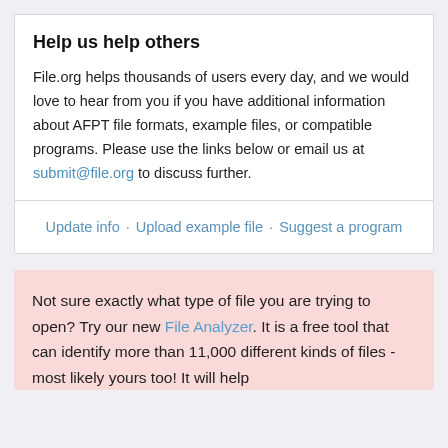Help us help others
File.org helps thousands of users every day, and we would love to hear from you if you have additional information about AFPT file formats, example files, or compatible programs. Please use the links below or email us at submit@file.org to discuss further.
Update info · Upload example file · Suggest a program
Not sure exactly what type of file you are trying to open? Try our new File Analyzer. It is a free tool that can identify more than 11,000 different kinds of files - most likely yours too! It will help